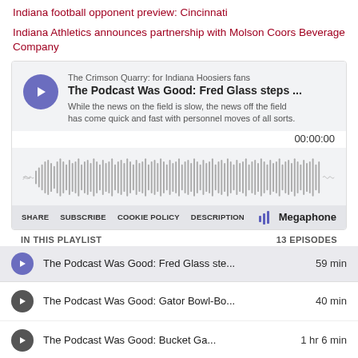Indiana football opponent preview: Cincinnati
Indiana Athletics announces partnership with Molson Coors Beverage Company
[Figure (screenshot): Megaphone podcast player embed showing 'The Podcast Was Good: Fred Glass steps...' episode from The Crimson Quarry: for Indiana Hoosiers fans. Includes waveform audio visualization, timer 00:00:00, and controls: SHARE, SUBSCRIBE, COOKIE POLICY, DESCRIPTION, and Megaphone logo.]
IN THIS PLAYLIST   13 EPISODES
The Podcast Was Good: Fred Glass ste...  59 min
The Podcast Was Good: Gator Bowl-Bo...  40 min
The Podcast Was Good: Bucket Ga...  1 hr 6 min